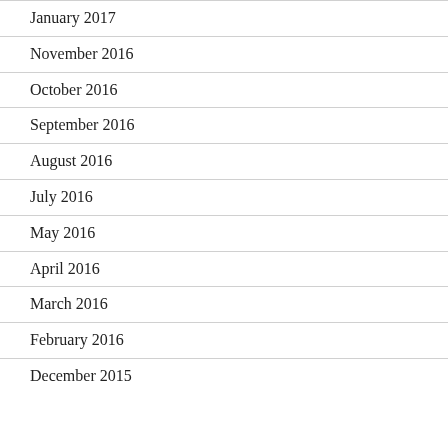January 2017
November 2016
October 2016
September 2016
August 2016
July 2016
May 2016
April 2016
March 2016
February 2016
December 2015